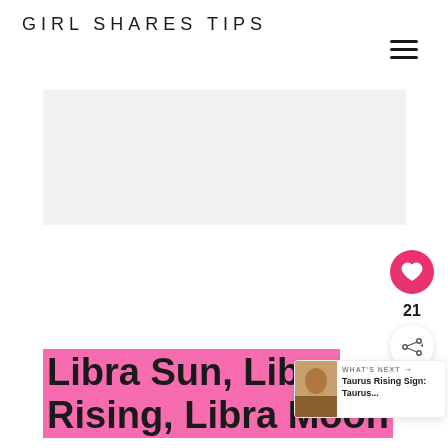GIRL SHARES TIPS
[Figure (screenshot): Light gray advertisement placeholder box]
[Figure (infographic): Pink heart like button with count 21, and share button]
Libra Sun, Libra Rising, Libra Moon
[Figure (infographic): WHAT'S NEXT callout with thumbnail image: Taurus Rising Sign: Taurus...]